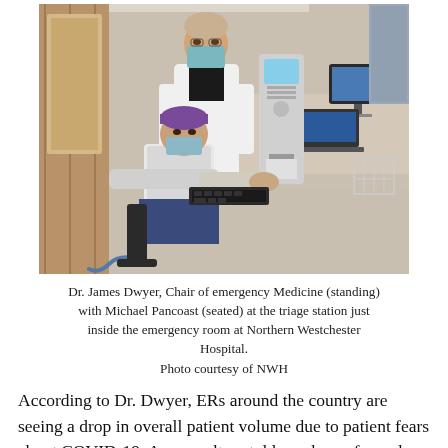[Figure (photo): Two masked medical professionals at a triage station inside an emergency room. One person in a white coat stands behind another person wearing blue scrubs and a purple surgical cap who is seated at a computer workstation with medical equipment nearby.]
Dr. James Dwyer, Chair of emergency Medicine (standing) with Michael Pancoast (seated) at the triage station just inside the emergency room at Northern Westchester Hospital.
Photo courtesy of NWH
According to Dr. Dwyer, ERs around the country are seeing a drop in overall patient volume due to patient fears about COVID-19. As a result, untold numbers of people may be dying at home or risking long-term